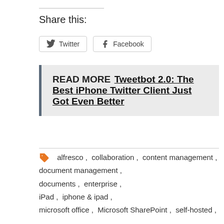Share this:
Twitter  Facebook
READ MORE  Tweetbot 2.0: The Best iPhone Twitter Client Just Got Even Better
alfresco , collaboration , content management , document management , documents , enterprise , iPad , iphone & ipad , microsoft office , Microsoft SharePoint , self-hosted ,